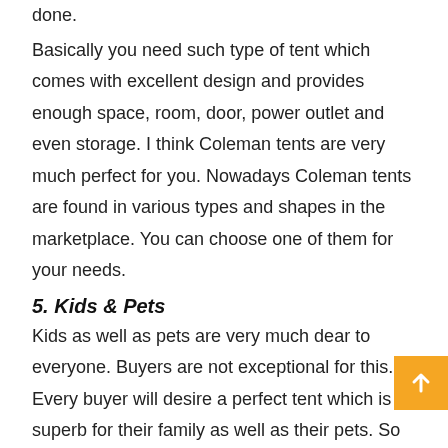done.
Basically you need such type of tent which comes with excellent design and provides enough space, room, door, power outlet and even storage. I think Coleman tents are very much perfect for you. Nowadays Coleman tents are found in various types and shapes in the marketplace. You can choose one of them for your needs.
5. Kids & Pets
Kids as well as pets are very much dear to everyone. Buyers are not exceptional for this. Every buyer will desire a perfect tent which is superb for their family as well as their pets. So buyers should choose the best family tents for their camping.
If you have little kids or pet you need four man tents because most of the 4 man tents are only comfortable for 2 adults, or possibly two adults and 2 small children plus a pet. So you should purchase 4 man tents for your comfortable family